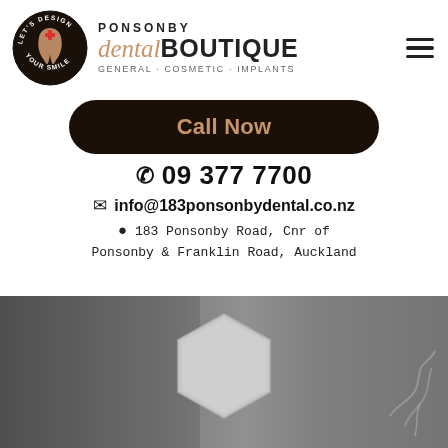[Figure (logo): Ponsonby Dental Boutique logo: circular badge with tooth and 'Let's Design Your Smile' text, beside brand name 'PONSONBY dental BOUTIQUE' with tagline 'GENERAL · COSMETIC · IMPLANTS']
Call Now
📞 09 377 7700
✉ info@183ponsonbydental.co.nz
📍 183 Ponsonby Road, Cnr of Ponsonby & Franklin Road, Auckland
[Figure (photo): Grayscale photo of a hexagonal object mounted on a wall, with a plant visible at the bottom right corner]